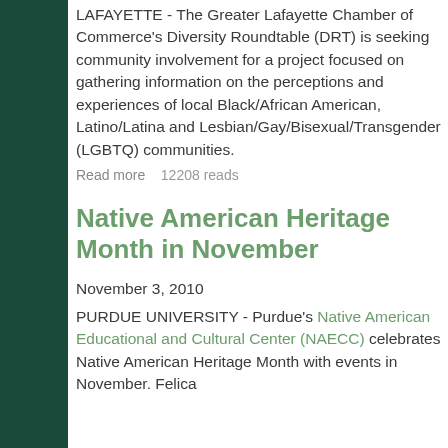LAFAYETTE - The Greater Lafayette Chamber of Commerce's Diversity Roundtable (DRT) is seeking community involvement for a project focused on gathering information on the perceptions and experiences of local Black/African American, Latino/Latina and Lesbian/Gay/Bisexual/Transgender (LGBTQ) communities.
Read more    12208 reads
Native American Heritage Month in November
November 3, 2010
PURDUE UNIVERSITY - Purdue's Native American Educational and Cultural Center (NAECC) celebrates Native American Heritage Month with events in November. Felica